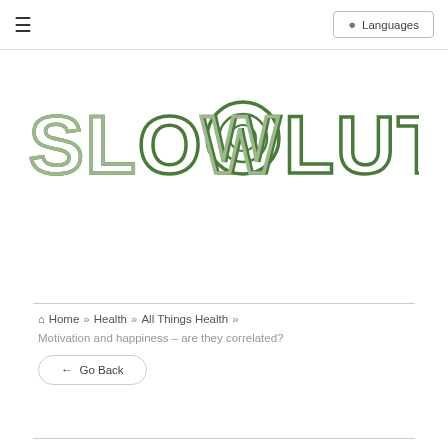≡   Languages
[Figure (logo): Slow-o-lution logo in green stylized text with circular letter forms]
Home » Health » All Things Health »
Motivation and happiness – are they correlated?
← Go Back